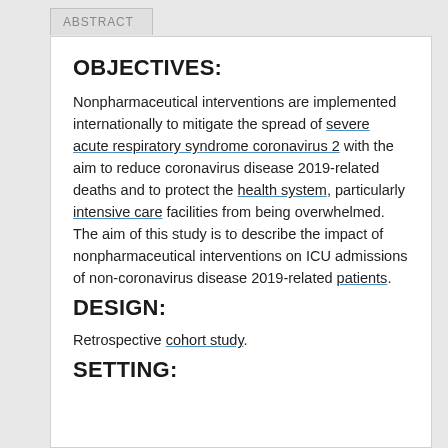ABSTRACT
OBJECTIVES:
Nonpharmaceutical interventions are implemented internationally to mitigate the spread of severe acute respiratory syndrome coronavirus 2 with the aim to reduce coronavirus disease 2019-related deaths and to protect the health system, particularly intensive care facilities from being overwhelmed. The aim of this study is to describe the impact of nonpharmaceutical interventions on ICU admissions of non-coronavirus disease 2019-related patients.
DESIGN:
Retrospective cohort study.
SETTING: